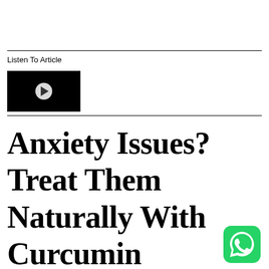Listen To Article
[Figure (other): Black video player rectangle with white circular play button in center]
Anxiety Issues? Treat Them Naturally With Curcumin
[Figure (logo): WhatsApp green rounded square icon with white phone/speech bubble logo]